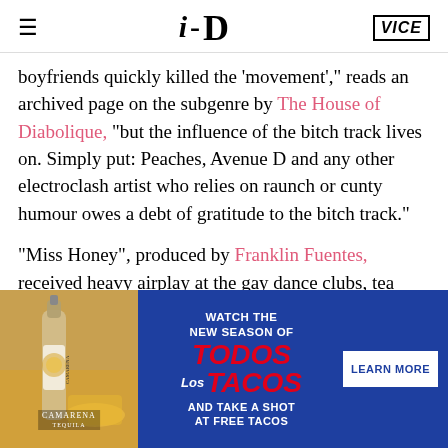i-D | VICE
boyfriends quickly killed the ‘movement’,” reads an archived page on the subgenre by The House of Diabolique, “but the influence of the bitch track lives on. Simply put: Peaches, Avenue D and any other electroclash artist who relies on raunch or cunty humour owes a debt of gratitude to the bitch track.”
“Miss Honey”, produced by Franklin Fuentes, received heavy airplay at the gay dance clubs, tea dances and balls
[Figure (infographic): Advertisement for Camarena Tequila and Todos Los Tacos show. Left side shows a bottle of Camarena tequila with cocktail. Right side has dark blue background with text: WATCH THE NEW SEASON OF TODOS Los TACOS AND TAKE A SHOT AT FREE TACOS, with a LEARN MORE button.]